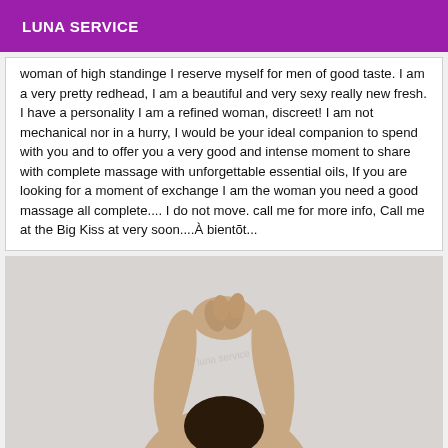LUNA SERVICE
woman of high standinge I reserve myself for men of good taste. I am a very pretty redhead, I am a beautiful and very sexy really new fresh. I have a personality I am a refined woman, discreet! I am not mechanical nor in a hurry, I would be your ideal companion to spend with you and to offer you a very good and intense moment to share with complete massage with unforgettable essential oils, If you are looking for a moment of exchange I am the woman you need a good massage all complete.... I do not move. call me for more info, Call me at the Big Kiss at very soon....À bientõt...
[Figure (photo): A person with dark hair raising their hands above their head, photographed against a light background. The image is cropped to show mainly the arms, hands, and top of the head.]